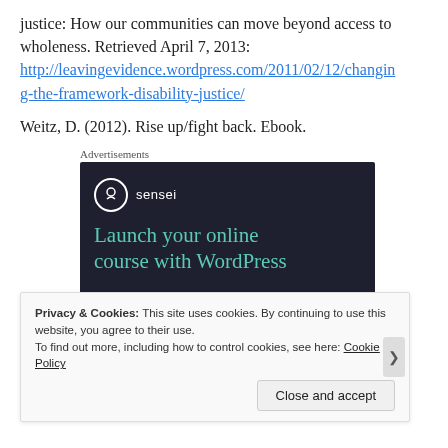justice: How our communities can move beyond access to wholeness. Retrieved April 7, 2013: http://leavingevidence.wordpress.com/2011/02/12/changing-the-framework-disability-justice/
Weitz, D. (2012). Rise up/fight back. Ebook.
Advertisements
[Figure (other): Sensei advertisement on dark background: 'Launch your online course with WordPress']
Privacy & Cookies: This site uses cookies. By continuing to use this website, you agree to their use. To find out more, including how to control cookies, see here: Cookie Policy
Close and accept